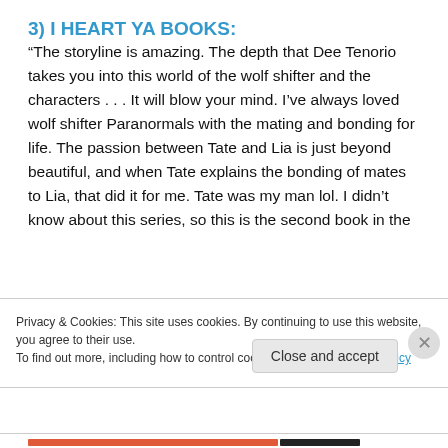3) I HEART YA BOOKS:
“The storyline is amazing. The depth that Dee Tenorio takes you into this world of the wolf shifter and the characters . . . It will blow your mind. I’ve always loved wolf shifter Paranormals with the mating and bonding for life. The passion between Tate and Lia is just beyond beautiful, and when Tate explains the bonding of mates to Lia, that did it for me. Tate was my man lol. I didn’t know about this series, so this is the second book in the
Privacy & Cookies: This site uses cookies. By continuing to use this website, you agree to their use.
To find out more, including how to control cookies, see here: Cookie Policy